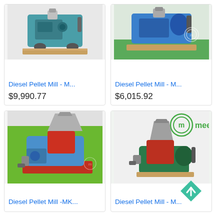[Figure (photo): Diesel Pellet Mill machine, blue/teal color on wooden pallet, top-left product card image]
Diesel Pellet Mill - M...
$9,990.77
[Figure (photo): Diesel Pellet Mill machine, blue color on wooden pallet with meelko watermark, top-right product card image]
Diesel Pellet Mill - M...
$6,015.92
[Figure (photo): Diesel Pellet Mill machine, blue/red with silver hopper on green background, bottom-left product card image]
Diesel Pellet Mill -MK...
[Figure (photo): Diesel Pellet Mill machine, green/red with meelko logo and scroll-to-top button, bottom-right product card image]
Diesel Pellet Mill - M...